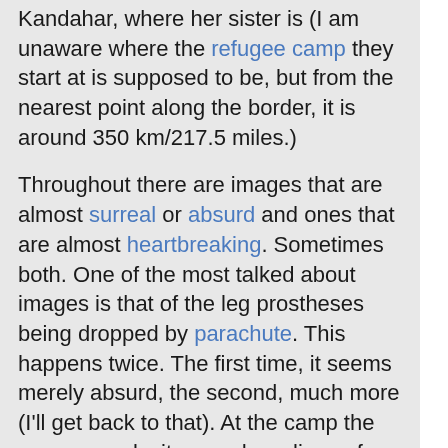Kandahar, where her sister is (I am unaware where the refugee camp they start at is supposed to be, but from the nearest point along the border, it is around 350 km/217.5 miles.)

Throughout there are images that are almost surreal or absurd and ones that are almost heartbreaking. Sometimes both. One of the most talked about images is that of the leg prostheses being dropped by parachute. This happens twice. The first time, it seems merely absurd, the second, much more (I'll get back to that). At the camp the camera works its way down lines of dozens and dozens of young